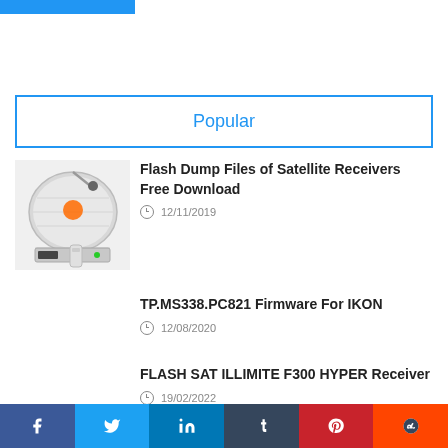Popular
[Figure (photo): Satellite dish with receiver]
Flash Dump Files of Satellite Receivers Free Download
12/11/2019
TP.MS338.PC821 Firmware For IKON
12/08/2020
FLASH SAT ILLIMITE F300 HYPER Receiver
19/02/2022
Facebook Twitter LinkedIn Tumblr Pinterest Reddit